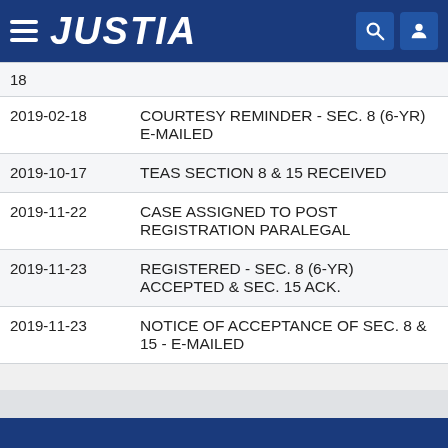JUSTIA
| Date | Event |
| --- | --- |
| 18 |  |
| 2019-02-18 | COURTESY REMINDER - SEC. 8 (6-YR) E-MAILED |
| 2019-10-17 | TEAS SECTION 8 & 15 RECEIVED |
| 2019-11-22 | CASE ASSIGNED TO POST REGISTRATION PARALEGAL |
| 2019-11-23 | REGISTERED - SEC. 8 (6-YR) ACCEPTED & SEC. 15 ACK. |
| 2019-11-23 | NOTICE OF ACCEPTANCE OF SEC. 8 & 15 - E-MAILED |